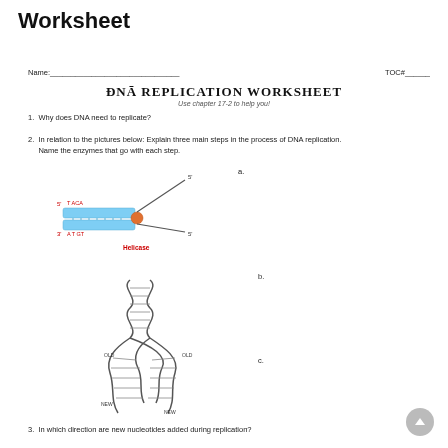Worksheet
Name:_________________________ TOC#______
DNA REPLICATION WORKSHEET
Use chapter 17-2 to help you!
1. Why does DNA need to replicate?
2. In relation to the pictures below: Explain three main steps in the process of DNA replication. Name the enzymes that go with each step.
a.
[Figure (illustration): Diagram of DNA helicase unwinding the double helix. Labels show 5', 3', T ACA, A T GT, and Helicase in red/orange.]
b.
[Figure (illustration): Diagram of DNA double helix replication fork showing the DNA strands separating and new strands being synthesized, with labels OLD and NEW.]
c.
3. In which direction are new nucleotides added during replication?